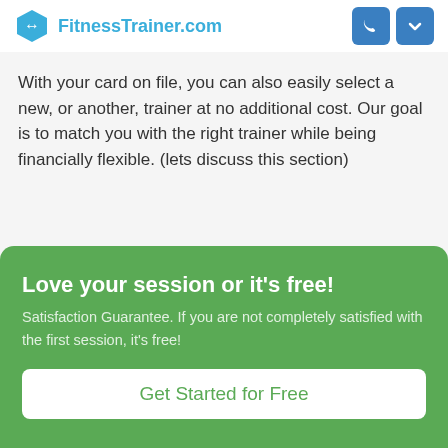FitnessTrainer.com
With your card on file, you can also easily select a new, or another, trainer at no additional cost. Our goal is to match you with the right trainer while being financially flexible. (lets discuss this section)
Love your session or it's free!
Satisfaction Guarantee. If you are not completely satisfied with the first session, it's free!
Get Started for Free